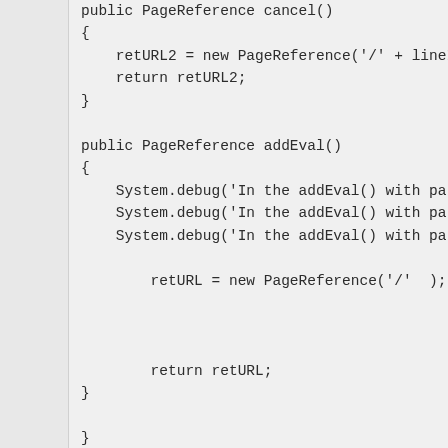public PageReference cancel()
{
    retURL2 = new PageReference('/' + lineItemI
    return retURL2;
}

public PageReference addEval()
{
    System.debug('In the addEval() with parame
    System.debug('In the addEval() with parame
    System.debug('In the addEval() with parame

        retURL = new PageReference('/'  );



        return retURL;
}

}